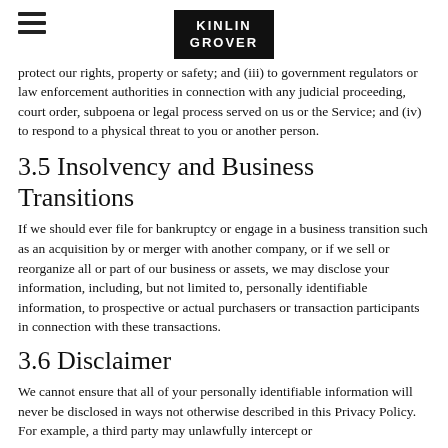Kinlin Grover
protect our rights, property or safety; and (iii) to government regulators or law enforcement authorities in connection with any judicial proceeding, court order, subpoena or legal process served on us or the Service; and (iv) to respond to a physical threat to you or another person.
3.5 Insolvency and Business Transitions
If we should ever file for bankruptcy or engage in a business transition such as an acquisition by or merger with another company, or if we sell or reorganize all or part of our business or assets, we may disclose your information, including, but not limited to, personally identifiable information, to prospective or actual purchasers or transaction participants in connection with these transactions.
3.6 Disclaimer
We cannot ensure that all of your personally identifiable information will never be disclosed in ways not otherwise described in this Privacy Policy. For example, a third party may unlawfully intercept or